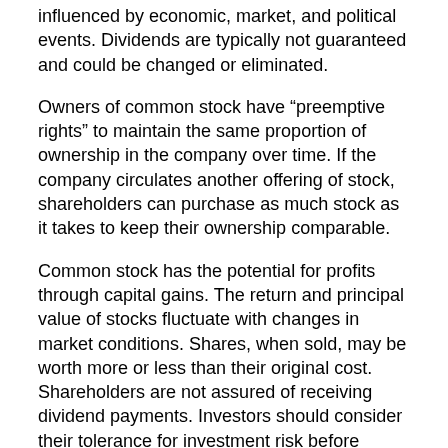influenced by economic, market, and political events. Dividends are typically not guaranteed and could be changed or eliminated.
Owners of common stock have “preemptive rights” to maintain the same proportion of ownership in the company over time. If the company circulates another offering of stock, shareholders can purchase as much stock as it takes to keep their ownership comparable.
Common stock has the potential for profits through capital gains. The return and principal value of stocks fluctuate with changes in market conditions. Shares, when sold, may be worth more or less than their original cost. Shareholders are not assured of receiving dividend payments. Investors should consider their tolerance for investment risk before investing in common stock.
Preferred Stock
Preferred stock is generally considered less volatile than common stock but typically has less potential for profit.